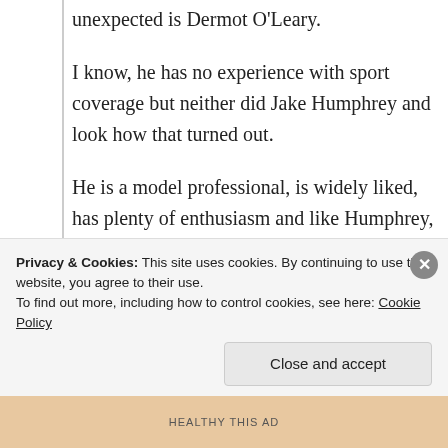unexpected is Dermot O'Leary.
I know, he has no experience with sport coverage but neither did Jake Humphrey and look how that turned out.
He is a model professional, is widely liked, has plenty of enthusiasm and like Humphrey, is quite youthful. I know he's in his 40s now.
I hope I at least get one reply to this at some point. I had done a google to see if “Dermot
Privacy & Cookies: This site uses cookies. By continuing to use this website, you agree to their use.
To find out more, including how to control cookies, see here: Cookie Policy